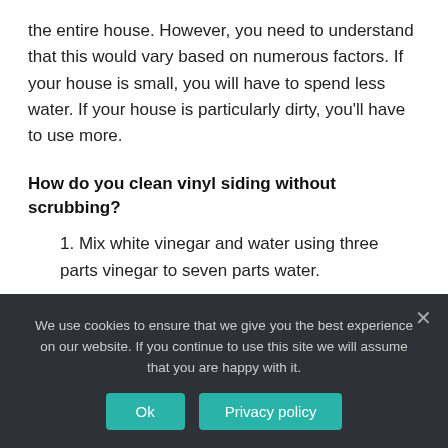the entire house. However, you need to understand that this would vary based on numerous factors. If your house is small, you will have to spend less water. If your house is particularly dirty, you’ll have to use more.
How do you clean vinyl siding without scrubbing?
1. Mix white vinegar and water using three parts vinegar to seven parts water.
2. Pour the mixture slowly over the sections of the siding you’d like to clean and allow it to sit for about 20
We use cookies to ensure that we give you the best experience on our website. If you continue to use this site we will assume that you are happy with it.